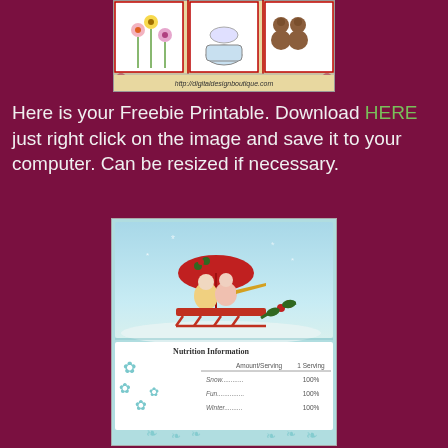[Figure (illustration): Top banner image showing crafts/flowers/teddybears with URL http://digitaldesignboutique.com]
Here is your Freebie Printable. Download HERE just right click on the image and save it to your computer. Can be resized if necessary.
[Figure (illustration): Winter Christmas vintage printable showing children on a sled with an umbrella in snowy scene, with a nutrition information label below showing Snow 100%, Fun 100%, Winter 100%]